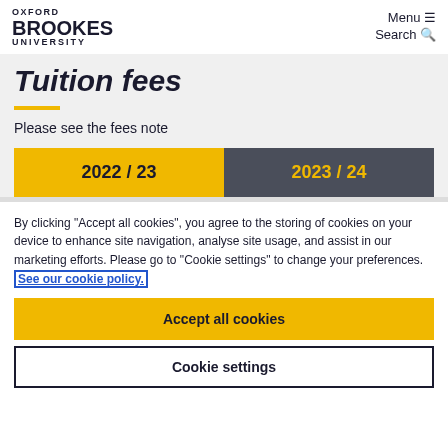Oxford Brookes University — Menu ☰  Search 🔍
Tuition fees
Please see the fees note
| 2022 / 23 | 2023 / 24 |
| --- | --- |
By clicking "Accept all cookies", you agree to the storing of cookies on your device to enhance site navigation, analyse site usage, and assist in our marketing efforts. Please go to "Cookie settings" to change your preferences. See our cookie policy.
Accept all cookies
Cookie settings